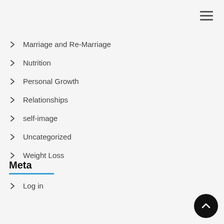Marriage and Re-Marriage
Nutrition
Personal Growth
Relationships
self-image
Uncategorized
Weight Loss
Meta
Log in